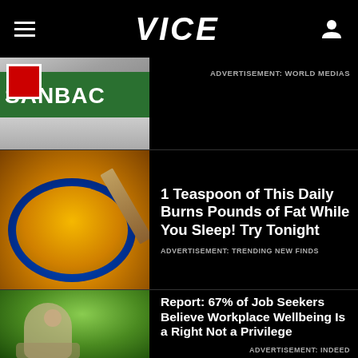VICE
[Figure (photo): Partial view of a SANBAC sign/building exterior]
ADVERTISEMENT: WORLD MEDIAS
[Figure (photo): A bowl of yellow turmeric powder with a spoon]
1 Teaspoon of This Daily Burns Pounds of Fat While You Sleep! Try Tonight
ADVERTISEMENT: TRENDING NEW FINDS
[Figure (photo): Person sitting outdoors under trees with a laptop]
Report: 67% of Job Seekers Believe Workplace Wellbeing Is a Right Not a Privilege
ADVERTISEMENT: INDEED